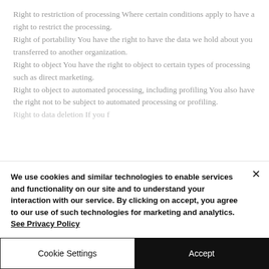Right to restriction of processing Where certain conditions apply to have a right to restrict the processing. Right of portability You have the right to have the data we hold about you transferred to another organization. Right to object You have the right to object to certain types of processing such as direct marketing. Right to object to automated processing, including profiling You also have the right not to be subject to automated processing or profiling. Right to data deletion If you f...
We use cookies and similar technologies to enable services and functionality on our site and to understand your interaction with our service. By clicking on accept, you agree to our use of such technologies for marketing and analytics. See Privacy Policy
Cookie Settings
Accept